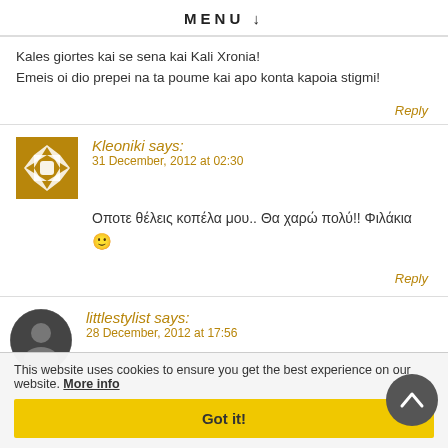MENU
Kales giortes kai se sena kai Kali Xronia!
Emeis oi dio prepei na ta poume kai apo konta kapoia stigmi!
Reply
Kleoniki says:
31 December, 2012 at 02:30
Οποτε θέλεις κοπέλα μου.. Θα χαρώ πολύ!! Φιλάκια 🙂
Reply
littlestylist says:
28 December, 2012 at 17:56
This website uses cookies to ensure you get the best experience on our website. More info
Got it!